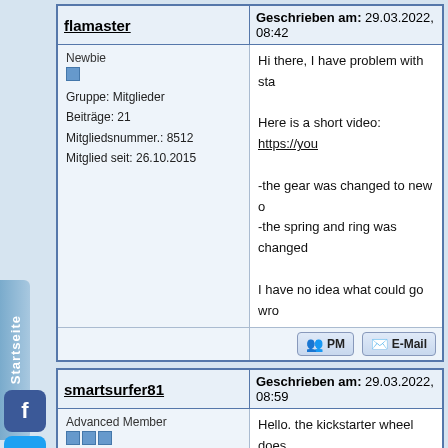flamaster — Geschrieben am: 29.03.2022, 08:42
Newbie
Gruppe: Mitglieder
Beiträge: 21
Mitgliedsnummer.: 8512
Mitglied seit: 26.10.2015
Hi there, I have problem with sta...

Here is a short video: https://you...

-the gear was changed to new o...
-the spring and ring was changed...

I have no idea what could go wro...
smartsurfer81 — Geschrieben am: 29.03.2022, 08:59
Advanced Member
Gruppe: Mitglieder
Beiträge: 1021
Mitgliedsnummer.: 7045
Mitglied seit: 01.01.2014
Hello. the kickstarter wheel does...
parts?